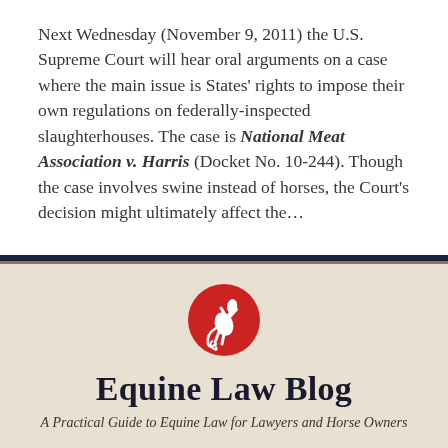Next Wednesday (November 9, 2011) the U.S. Supreme Court will hear oral arguments on a case where the main issue is States' rights to impose their own regulations on federally-inspected slaughterhouses. The case is National Meat Association v. Harris (Docket No. 10-244). Though the case involves swine instead of horses, the Court's decision might ultimately affect the...
[Figure (logo): Red circular logo with a white rearing horse silhouette and decorative swirl elements]
Equine Law Blog
A Practical Guide to Equine Law for Lawyers and Horse Owners